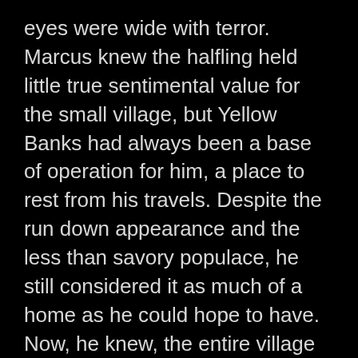eyes were wide with terror. Marcus knew the halfling held little true sentimental value for the small village, but Yellow Banks had always been a base of operation for him, a place to rest from his travels. Despite the run down appearance and the less than savory populace, he still considered it as much of a home as he could hope to have. Now, he knew, the entire village was likely destroyed along with most if not all of its residents.
Looking to his other side, Marcus studied Heather. She was not looking at the thick line of smoke parting the sky ahead like an ugly scar. Instead, he sat leaned over the neck of the griffon, huddling from the wind. Marcus could see her eyes were closed and her lips moving frantically. He could not hear what she was saying, but he guessed that if God existed in the form